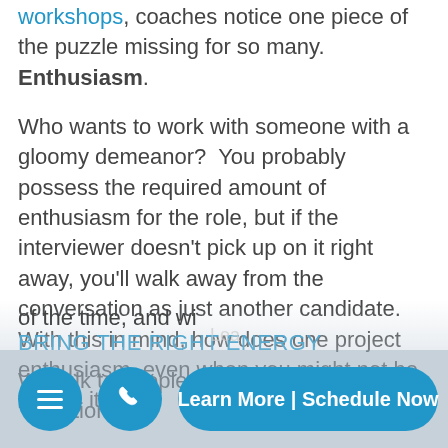workshops, coaches notice one piece of the puzzle missing for so many.  Enthusiasm.
Who wants to work with someone with a gloomy demeanor?  You probably possess the required amount of enthusiasm for the role, but if the interviewer doesn’t pick up on it right away, you’ll walk away from the conversation as just another candidate.  With this in mind, how does one project enthusiasm, even when you might not be feeling it?
BRING THE RIGHT ENERGY
We talk to people with different “vibrations” all of the time, and wi...
energy leve...